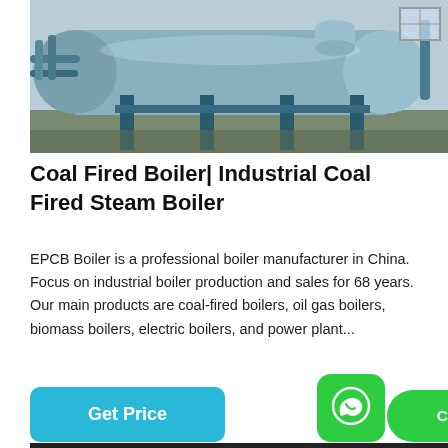[Figure (photo): Industrial coal fired boiler in a factory/warehouse setting, large cylindrical boiler on metal supports with pipes and equipment visible]
Coal Fired Boiler| Industrial Coal Fired Steam Boiler
EPCB Boiler is a professional boiler manufacturer in China. Focus on industrial boiler production and sales for 68 years. Our main products are coal-fired boilers, oil gas boilers, biomass boilers, electric boilers, and power plant...
[Figure (photo): Interior of industrial boiler factory/warehouse with steel structure ceiling, pipes and equipment visible]